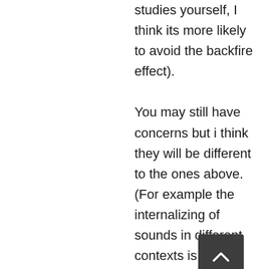studies yourself, I think its more likely to avoid the backfire effect).

You may still have concerns but i think they will be different to the ones above.(For example the internalizing of sounds in different contexts is something I think it is trying to do better then other